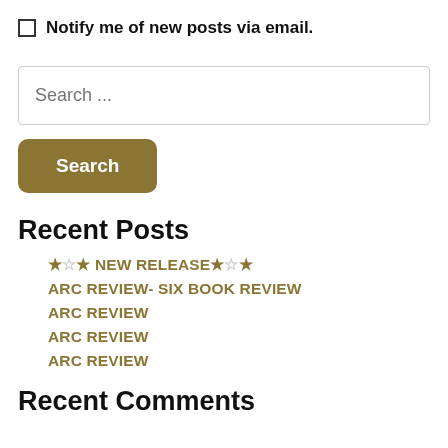Notify me of new posts via email.
Search ...
Search
Recent Posts
★☆★ NEW RELEASE★☆★
ARC REVIEW- SIX BOOK REVIEW
ARC REVIEW
ARC REVIEW
ARC REVIEW
Recent Comments